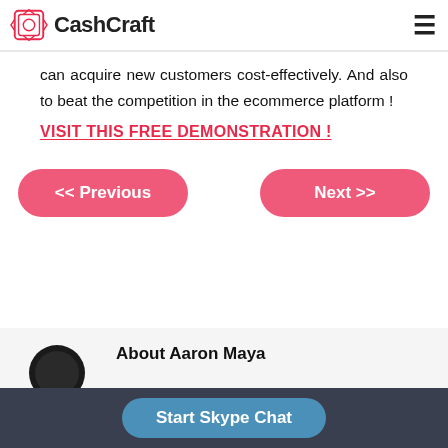CashCraft
can acquire new customers cost-effectively. And also to beat the competition in the ecommerce platform !
VISIT THIS FREE DEMONSTRATION !
<< Previous
Next >>
About Aaron Maya
Start Skype Chat